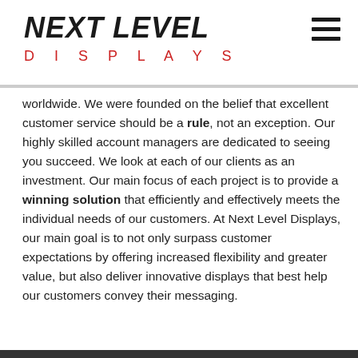NEXT LEVEL DISPLAYS
worldwide. We were founded on the belief that excellent customer service should be a rule, not an exception. Our highly skilled account managers are dedicated to seeing you succeed. We look at each of our clients as an investment. Our main focus of each project is to provide a winning solution that efficiently and effectively meets the individual needs of our customers. At Next Level Displays, our main goal is to not only surpass customer expectations by offering increased flexibility and greater value, but also deliver innovative displays that best help our customers convey their messaging.